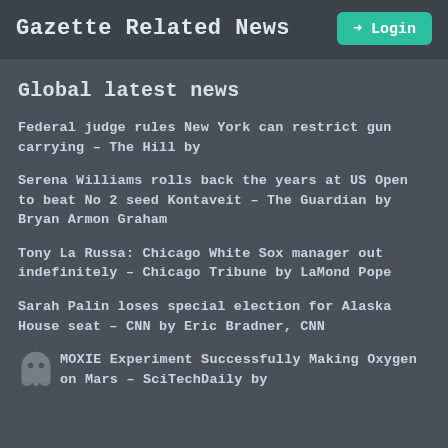Gazette Related News
Global latest news
Federal judge rules New York can restrict gun carrying – The Hill by
Serena Williams rolls back the years at US Open to beat No 2 seed Kontaveit – The Guardian by Bryan Armon Graham
Tony La Russa: Chicago White Sox manager out indefinitely – Chicago Tribune by LaMond Pope
Sarah Palin loses special election for Alaska House seat – CNN by Eric Bradner, CNN
MOXIE Experiment Successfully Making Oxygen on Mars – SciTechDaily by